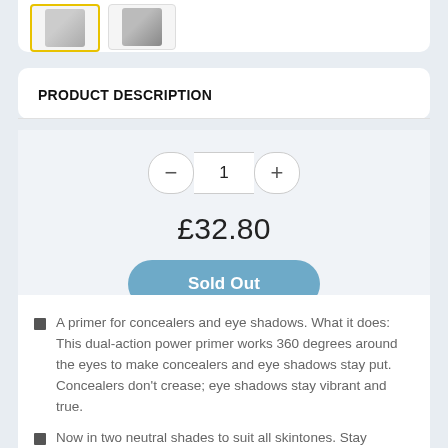[Figure (photo): Product thumbnail images — one selected with yellow border, one unselected]
PRODUCT DESCRIPTION
1
£32.80
Sold Out
A primer for concealers and eye shadows. What it does: This dual-action power primer works 360 degrees around the eyes to make concealers and eye shadows stay put. Concealers don't crease; eye shadows stay vibrant and true.
Now in two neutral shades to suit all skintones. Stay